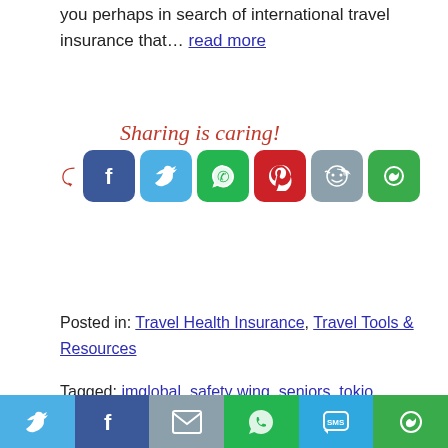you perhaps in search of international travel insurance that… read more
[Figure (infographic): Sharing is caring! section with social media share buttons: Facebook, Twitter, WhatsApp, Pinterest, Reddit, and More Options]
Posted in: Travel Health Insurance, Travel Tools & Resources
Tagged: imglobal, safety wing, seniors, tokio marine,
[Figure (photo): Photo of a person from behind wearing headphones, sitting on a bus or train looking out the window]
[Figure (infographic): Bottom social share bar with Twitter, Facebook, Email, WhatsApp, SMS, and More Options buttons]